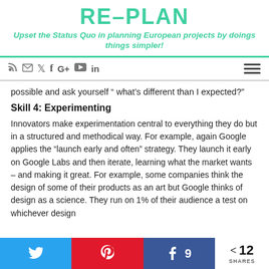RE-PLAN
Upset the Status Quo in planning European projects by doings things simpler!
[Figure (other): Navigation bar with social media icons (RSS, email, Twitter, Facebook, Google+, YouTube, LinkedIn) and hamburger menu icon]
possible and ask yourself " what's different than I expected?"
Skill 4: Experimenting
Innovators make experimentation central to everything they do but in a structured and methodical way. For example, again Google applies the “launch early and often” strategy. They launch it early on Google Labs and then iterate, learning what the market wants – and making it great. For example, some companies think the design of some of their products as an art but Google thinks of design as a science. They run on 1% of their audience a test on whichever design
[Figure (other): Social share bar with Twitter button, Pinterest button, Facebook button with count 9, and total share count 12]